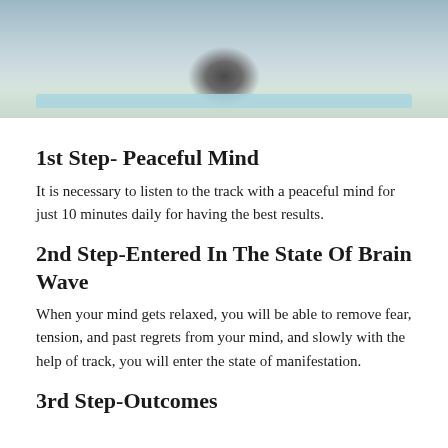[Figure (photo): Person meditating on a yoga mat, shot from above/front, with a blurred outdoor background. A blue yoga mat is visible at the bottom.]
1st Step- Peaceful Mind
It is necessary to listen to the track with a peaceful mind for just 10 minutes daily for having the best results.
2nd Step-Entered In The State Of Brain Wave
When your mind gets relaxed, you will be able to remove fear, tension, and past regrets from your mind, and slowly with the help of track, you will enter the state of manifestation.
3rd Step-Outcomes